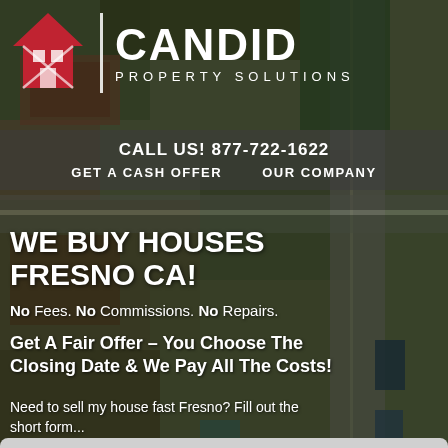[Figure (photo): Aerial/drone view of houses, streets, and neighborhood used as background image]
CANDID PROPERTY SOLUTIONS
CALL US! 877-722-1622
GET A CASH OFFER   OUR COMPANY
WE BUY HOUSES FRESNO CA!
No Fees. No Commissions. No Repairs.
Get A Fair Offer – You Choose The Closing Date & We Pay All The Costs!
Need to sell my house fast Fresno? Fill out the short form...